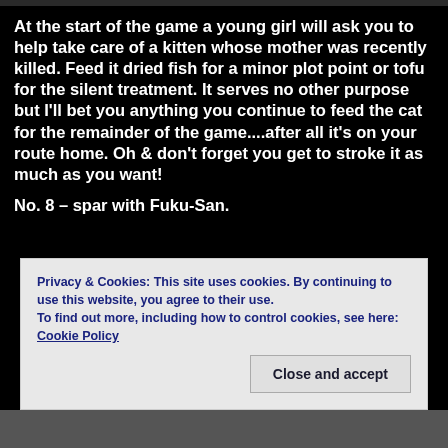[Figure (photo): Top image bar / partial photo at top of page]
At the start of the game a young girl will ask you to help take care of a kitten whose mother was recently killed. Feed it dried fish for a minor plot point or tofu for the silent treatment. It serves no other purpose but I'll bet you anything you continue to feed the cat for the remainder of the game....after all it's on your route home. Oh & don't forget you get to stroke it as much as you want!
No. 8 – spar with Fuku-San.
Privacy & Cookies: This site uses cookies. By continuing to use this website, you agree to their use.
To find out more, including how to control cookies, see here: Cookie Policy
[Figure (photo): Bottom partial photo bar]